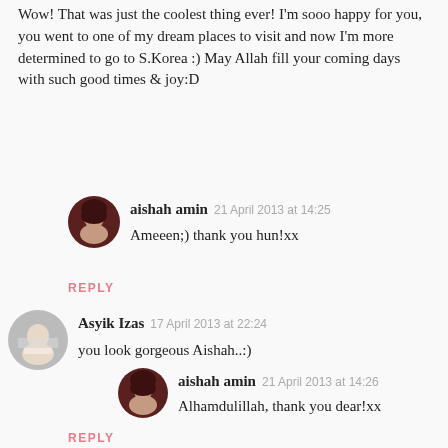Wow! That was just the coolest thing ever! I'm sooo happy for you, you went to one of my dream places to visit and now I'm more determined to go to S.Korea :) May Allah fill your coming days with such good times & joy:D
[Figure (photo): Round avatar of aishah amin - woman in dark hijab]
aishah amin  21 April 2013 at 14:25
Ameeen;) thank you hun!xx
REPLY
[Figure (photo): Round avatar of Asyik Izas - person with light background]
Asyik Izas  17 April 2013 at 22:24
you look gorgeous Aishah..:)
[Figure (photo): Round avatar of aishah amin - woman in dark hijab]
aishah amin  21 April 2013 at 14:26
Alhamdulillah, thank you dear!xx
REPLY
[Figure (photo): Round avatar of Autumn - woman with light skin]
Autumn (It's Autumn's Life)  19 April 2013 at 06:51